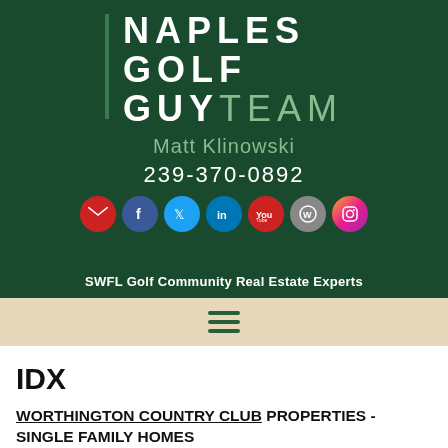[Figure (logo): Naples Golf Guy Team logo with vertical green bar, bold white text NAPLES GOLF GUY and lighter green TEAM, agent name Matt Klinowski, phone 239-370-0892, and social media icons (email, Facebook, Twitter, LinkedIn, YouTube, WordPress, Instagram) on dark green background]
SWFL Golf Community Real Estate Experts
[Figure (other): Hamburger menu icon (three horizontal green lines) on beige/tan navigation bar]
IDX
WORTHINGTON COUNTRY CLUB PROPERTIES - SINGLE FAMILY HOMES